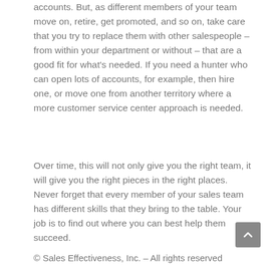accounts. But, as different members of your team move on, retire, get promoted, and so on, take care that you try to replace them with other salespeople – from within your department or without – that are a good fit for what's needed. If you need a hunter who can open lots of accounts, for example, then hire one, or move one from another territory where a more customer service center approach is needed.
Over time, this will not only give you the right team, it will give you the right pieces in the right places. Never forget that every member of your sales team has different skills that they bring to the table. Your job is to find out where you can best help them succeed.
© Sales Effectiveness, Inc. – All rights reserved